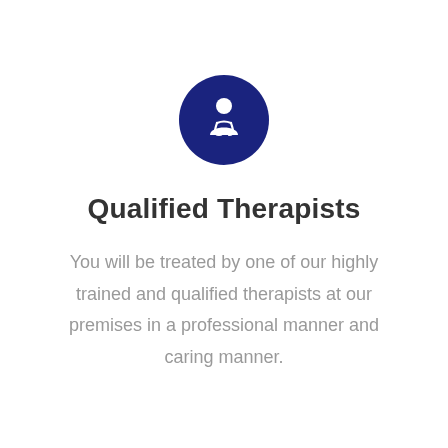[Figure (illustration): Dark navy blue circle icon containing a white silhouette of a medical professional/doctor with a stethoscope around their neck]
Qualified Therapists
You will be treated by one of our highly trained and qualified therapists at our premises in a professional manner and caring manner.